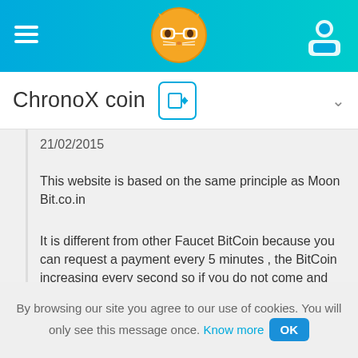ChronoX coin
21/02/2015
This website is based on the same principle as Moon Bit.co.in
It is different from other Faucet BitCoin because you can request a payment every 5 minutes , the BitCoin increasing every second so if you do not come and remove your BitCoin for example one day your BitCoin have increased anyway , even if you are not on the site.
By browsing our site you agree to our use of cookies. You will only see this message once. Know more OK